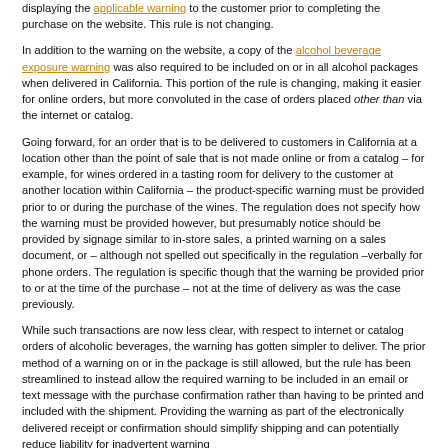displaying the applicable warning to the customer prior to completing the purchase on the website. This rule is not changing.
In addition to the warning on the website, a copy of the alcohol beverage exposure warning was also required to be included on or in all alcohol packages when delivered in California. This portion of the rule is changing, making it easier for online orders, but more convoluted in the case of orders placed other than via the internet or catalog.
Going forward, for an order that is to be delivered to customers in California at a location other than the point of sale that is not made online or from a catalog – for example, for wines ordered in a tasting room for delivery to the customer at another location within California – the product-specific warning must be provided prior to or during the purchase of the wines. The regulation does not specify how the warning must be provided however, but presumably notice should be provided by signage similar to in-store sales, a printed warning on a sales document, or – although not spelled out specifically in the regulation –verbally for phone orders. The regulation is specific though that the warning be provided prior to or at the time of the purchase – not at the time of delivery as was the case previously.
While such transactions are now less clear, with respect to internet or catalog orders of alcoholic beverages, the warning has gotten simpler to deliver. The prior method of a warning on or in the package is still allowed, but the rule has been streamlined to instead allow the required warning to be included in an email or text message with the purchase confirmation rather than having to be printed and included with the shipment. Providing the warning as part of the electronically delivered receipt or confirmation should simplify shipping and can potentially reduce liability for inadvertent warning